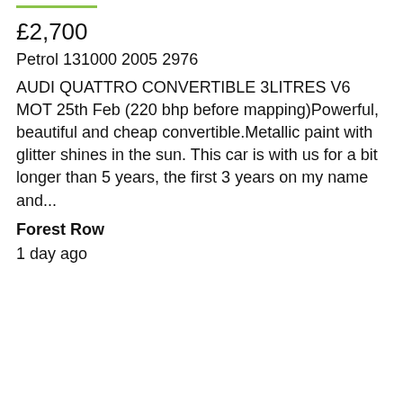£2,700
Petrol 131000 2005 2976
AUDI QUATTRO CONVERTIBLE 3LITRES V6 MOT 25th Feb (220 bhp before mapping)Powerful, beautiful and cheap convertible.Metallic paint with glitter shines in the sun. This car is with us for a bit longer than 5 years, the first 3 years on my name and...
Forest Row
1 day ago